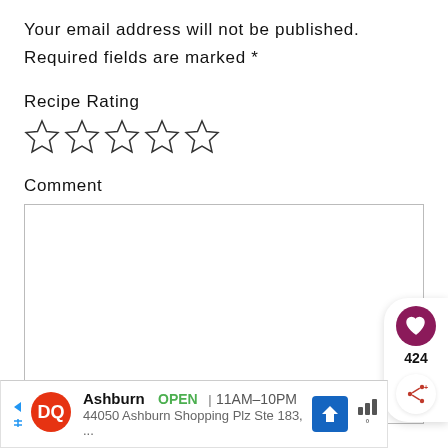Your email address will not be published.
Required fields are marked *
Recipe Rating
[Figure (other): Five empty star rating icons in a row]
Comment
[Figure (other): Empty comment text area input box]
[Figure (other): Floating action buttons: heart/like button with count 424 and share button]
[Figure (other): Dairy Queen ad banner: Ashburn OPEN 11AM-10PM, 44050 Ashburn Shopping Plz Ste 183,...]